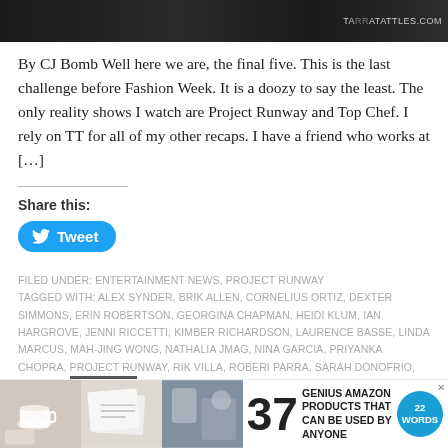[Figure (photo): Top banner image showing people, dark background with TARRATATTLES.COM watermark]
By CJ Bomb Well here we are, the final five. This is the last challenge before Fashion Week. It is a doozy to say the least. The only reality shows I watch are Project Runway and Top Chef. I rely on TT for all of my other recaps. I have a friend who works at […]
Share this:
Tweet
FILED UNDER: ENTERTAINMENT NEWS, PROJECT RUNWAY
TAGGED WITH: ALEX SYNDER, BRIK ALLEN, CORNELIUS ORTIZ, DEXTER SIMMONS, ERIN ROBERTSON, GEORGINA CHAPMAN, HEIDI KLUM, IAN HARGROVE, JENNI RICCETTI, KIMBER RICHARDSON, LAURENCE BASSE, LINDA MARCUS, MAH-JING WONG, NATHALIA JMAG, NINA GARCIA, PRIYANKA CHOPRA, PROJECT RUNWAY, RIK VILLA, ROBERI PARRA, SARAH DONOFRIO, TASHA HENDERSON, TIM GUNN
[Figure (infographic): Advertisement banner: 37 Genius Amazon Products That Can Be Used By Anyone, with 22 Words logo]